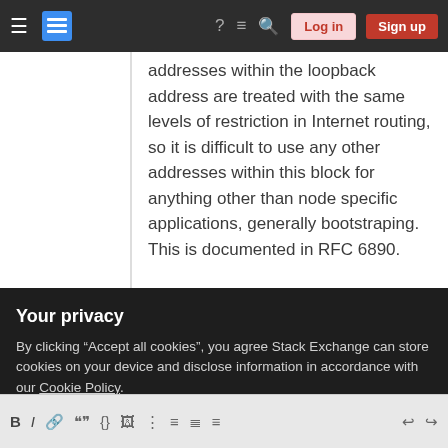Stack Exchange navigation bar with Log in and Sign up buttons
addresses within the loopback address are treated with the same levels of restriction in Internet routing, so it is difficult to use any other addresses within this block for anything other than node specific applications, generally bootstraping. This is documented in RFC 6890.
Share    answered Jul 28, 2020 at 21:39
Improve this answer
Your privacy
By clicking “Accept all cookies”, you agree Stack Exchange can store cookies on your device and disclose information in accordance with our Cookie Policy.
Accept all cookies   Customize settings